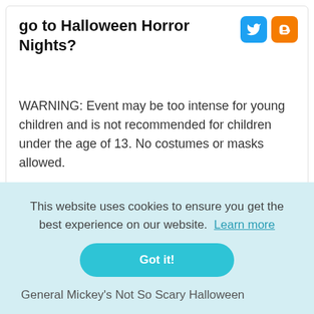go to Halloween Horror Nights?
[Figure (logo): Twitter and Blogger social sharing icons]
WARNING: Event may be too intense for young children and is not recommended for children under the age of 13. No costumes or masks allowed.
Do you have to dress up for
This website uses cookies to ensure you get the best experience on our website. Learn more
Got it!
General Mickey's Not So Scary Halloween